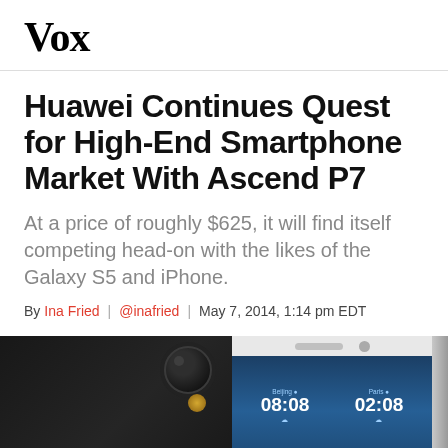Vox
Huawei Continues Quest for High-End Smartphone Market With Ascend P7
At a price of roughly $625, it will find itself competing head-on with the likes of the Galaxy S5 and iPhone.
By Ina Fried | @inafried | May 7, 2014, 1:14pm EDT
[Figure (infographic): Social share bar with Facebook, Twitter, and Share icons]
[Figure (photo): Bottom portion of two Huawei Ascend P7 smartphones — one black showing rear camera and flash, one white showing front screen with clock widgets displaying Beijing 08:08 and Paris 02:08]